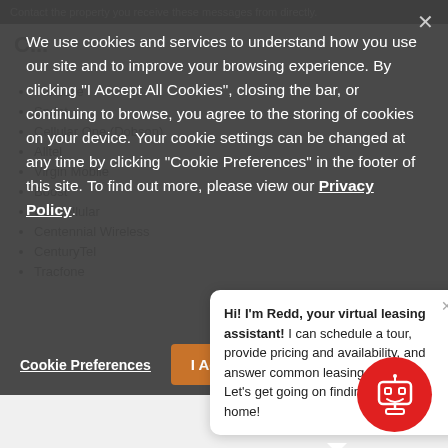Contact the property you receive these messages from directly.
[Figure (screenshot): Cookie consent overlay modal with dark semi-transparent background showing cookie policy text, a Cookie Preferences link, and an I Accept All Cookies button.]
We use cookies and services to understand how you use our site and to improve your browsing experience. By clicking "I Accept All Cookies", closing the bar, or continuing to browse, you agree to the storing of cookies on your device. Your cookie settings can be changed at any time by clicking "Cookie Preferences" in the footer of this site. To find out more, please view our Privacy Policy.
T-Mobile
Sprint
Cellular One (Dobson)
Alltel
Virgin Mobile
Boost
US Cellular
Centennial Wireless
CenturyTel
Tracfone
Hi! I'm Redd, your virtual leasing assistant! I can schedule a tour, provide pricing and availability, and answer common leasing questions. Let's get going on finding you a new home!